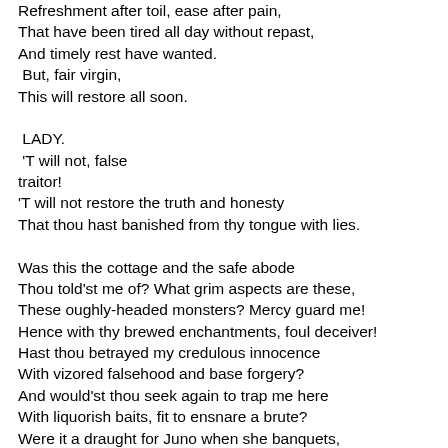Refreshment after toil, ease after pain,
That have been tired all day without repast,
And timely rest have wanted.
 But, fair virgin,
This will restore all soon.

 LADY.
 'T will not, false
traitor!
'T will not restore the truth and honesty
That thou hast banished from thy tongue with lies.

Was this the cottage and the safe abode
Thou told'st me of? What grim aspects are these,
These oughly-headed monsters? Mercy guard me!
Hence with thy brewed enchantments, foul deceiver!
Hast thou betrayed my credulous innocence
With vizored falsehood and base forgery?
And would'st thou seek again to trap me here
With liquorish baits, fit to ensnare a brute?
Were it a draught for Juno when she banquets,
I would not taste thy treasonous offer.
 None
But such as are good men can give good things;